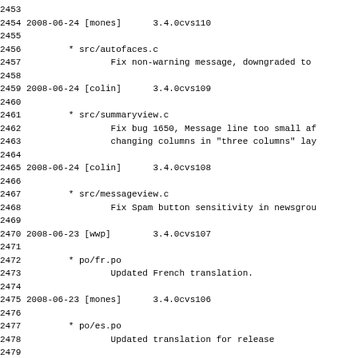2453
2454 2008-06-24 [mones]      3.4.0cvs110
2455
2456         * src/autofaces.c
2457                 Fix non-warning message, downgraded to
2458
2459 2008-06-24 [colin]      3.4.0cvs109
2460
2461         * src/summaryview.c
2462                 Fix bug 1650, Message line too small af
2463                 changing columns in "three columns" lay
2464
2465 2008-06-24 [colin]      3.4.0cvs108
2466
2467         * src/messageview.c
2468                 Fix Spam button sensitivity in newsgrou
2469
2470 2008-06-23 [wwp]        3.4.0cvs107
2471
2472         * po/fr.po
2473                 Updated French translation.
2474
2475 2008-06-23 [mones]      3.4.0cvs106
2476
2477         * po/es.po
2478                 Updated translation for release
2479
2480 2008-06-22 [mones]      3.4.0cvs105
2481
2482         * manual/es/plugins.xml
2483                 Synced new entry for Mail Archiver plug
2484
2485 2008-06-22 [colin]      3.4.0cvs104